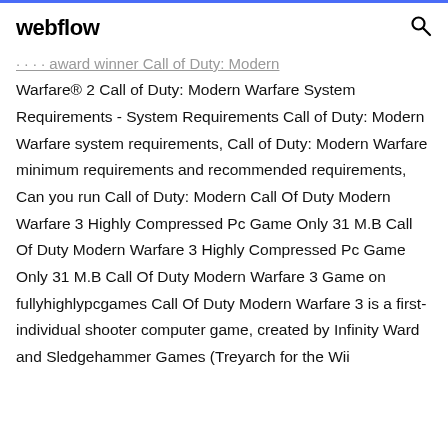webflow
· · · · award winner Call of Duty: Modern Warfare® 2 Call of Duty: Modern Warfare System Requirements - System Requirements Call of Duty: Modern Warfare system requirements, Call of Duty: Modern Warfare minimum requirements and recommended requirements, Can you run Call of Duty: Modern Call Of Duty Modern Warfare 3 Highly Compressed Pc Game Only 31 M.B Call Of Duty Modern Warfare 3 Highly Compressed Pc Game Only 31 M.B Call Of Duty Modern Warfare 3 Game on fullyhighlypcgames Call Of Duty Modern Warfare 3 is a first-individual shooter computer game, created by Infinity Ward and Sledgehammer Games (Treyarch for the Wii